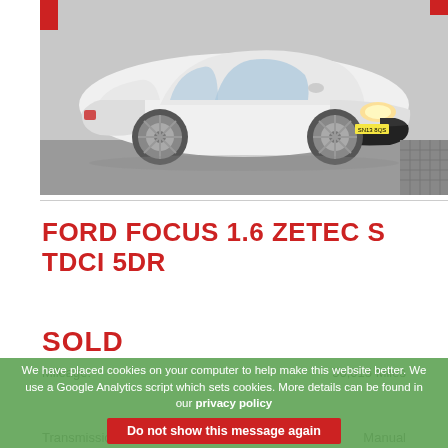[Figure (photo): White Ford Focus 1.6 Zetec S TDCi 5dr car photographed in a showroom setting, front three-quarter view, silver alloy wheels, registration plate visible.]
FORD FOCUS 1.6 ZETEC S TDCI 5DR
SOLD
We have placed cookies on your computer to help make this website better. We use a Google Analytics script which sets cookies. More details can be found in our privacy policy
Do not show this message again
Mileage:
Transmission
Manual